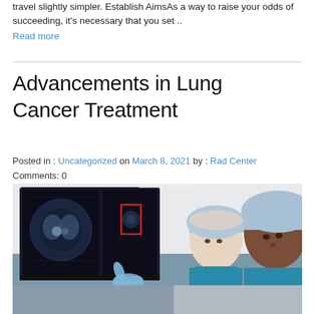travel slightly simpler. Establish AimsAs a way to raise your odds of succeeding, it's necessary that you set ..
Read more
Advancements in Lung Cancer Treatment
Posted in : Uncategorized on March 8, 2021 by : Rad Center
Comments: 0
[Figure (photo): Two medical professionals wearing surgical caps and gloves reviewing CT scan images on a monitor in a clinical setting.]